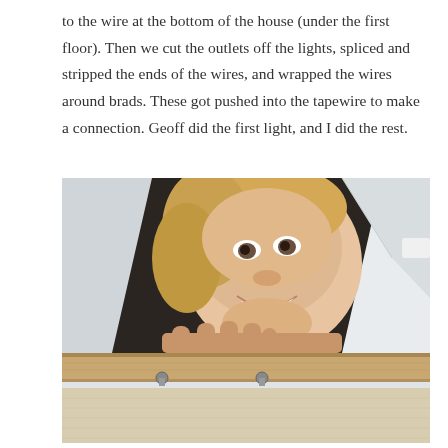to the wire at the bottom of the house (under the first floor). Then we cut the outlets off the lights, spliced and stripped the ends of the wires, and wrapped the wires around brads. These got pushed into the tapewire to make a connection. Geoff did the first light, and I did the rest.
[Figure (photo): A smiling blonde woman peering through a triangular opening in the floor/wall of a dollhouse, with visible brads/hooks and wires on a wooden ledge in the foreground.]